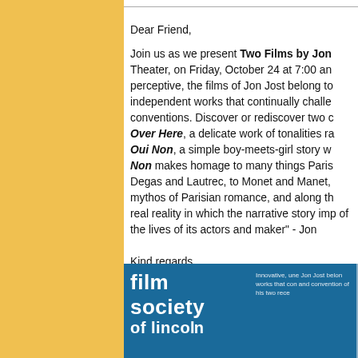Dear Friend,
Join us as we present Two Films by Jon Theater, on Friday, October 24 at 7:00 an perceptive, the films of Jon Jost belong to independent works that continually challe conventions. Discover or rediscover two c Over Here, a delicate work of tonalities ra Oui Non, a simple boy-meets-girl story w Non makes homage to many things Paris Degas and Lautrec, to Monet and Manet, mythos of Parisian romance, and along th real reality in which the narrative story imp of the lives of its actors and maker" - Jon
Kind regards,
Film Society of Lincoln Center
[Figure (logo): Film Society of Lincoln Center blue banner with white bold text logo on left and small descriptive text on right]